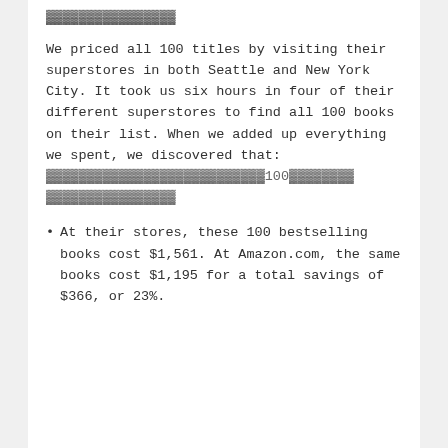▓▓▓▓▓▓▓▓▓▓▓▓▓▓▓▓
We priced all 100 titles by visiting their superstores in both Seattle and New York City. It took us six hours in four of their different superstores to find all 100 books on their list. When we added up everything we spent, we discovered that:
▓▓▓▓▓▓▓▓▓▓▓▓▓▓▓▓▓▓▓▓▓▓▓▓▓▓▓100▓▓▓▓▓▓▓▓▓▓▓▓▓▓▓▓▓▓
At their stores, these 100 bestselling books cost $1,561. At Amazon.com, the same books cost $1,195 for a total savings of $366, or 23%.